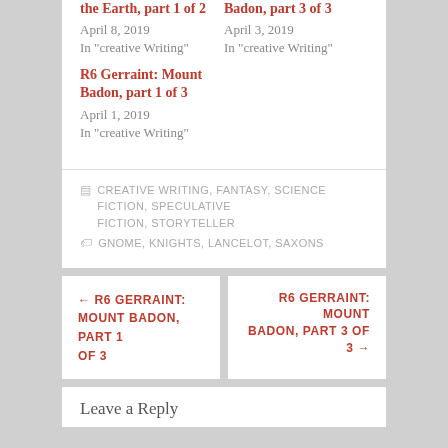the Earth, part 1 of 2
April 8, 2019
In "creative Writing"
Badon, part 3 of 3
April 3, 2019
In "creative Writing"
R6 Gerraint: Mount Badon, part 1 of 3
April 1, 2019
In "creative Writing"
CREATIVE WRITING, FANTASY, SCIENCE FICTION, SPECULATIVE FICTION, STORYTELLER
GNOME, KNIGHTS, LANCELOT, SAXONS
← R6 GERRAINT: MOUNT BADON, PART 1 OF 3
R6 GERRAINT: MOUNT BADON, PART 3 OF 3 →
Leave a Reply